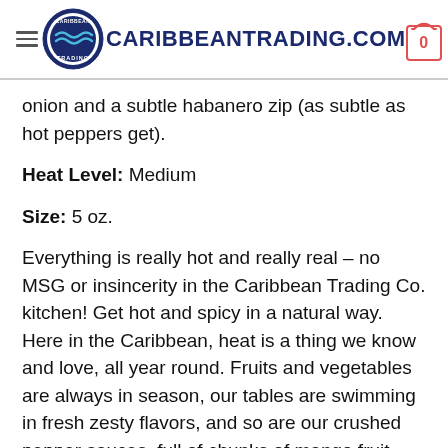CARIBBEANTRADING.COM
onion and a subtle habanero zip (as subtle as hot peppers get).
Heat Level: Medium
Size: 5 oz.
Everything is really hot and really real – no MSG or insincerity in the Caribbean Trading Co. kitchen! Get hot and spicy in a natural way. Here in the Caribbean, heat is a thing we know and love, all year round. Fruits and vegetables are always in season, our tables are swimming in fresh zesty flavors, and so are our crushed pepper sauces, full of chunks of mango fruit and cucumber veggies. Pepper raises the all-around temperature in this part of the world, so pepper lovers can live out their fiery dreams with our spice and